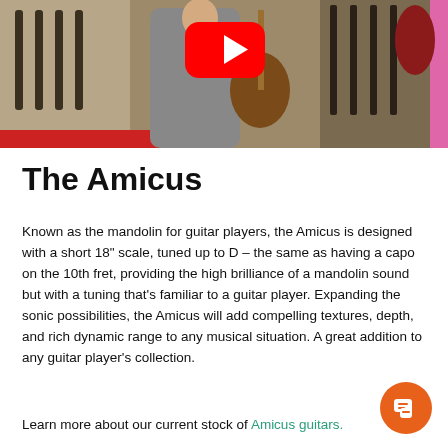[Figure (screenshot): Video thumbnail showing a man holding an acoustic guitar in a music shop with multiple guitars visible on the wall. A YouTube play button (red rounded rectangle with white triangle) is overlaid in the center.]
The Amicus
Known as the mandolin for guitar players, the Amicus is designed with a short 18" scale, tuned up to D – the same as having a capo on the 10th fret, providing the high brilliance of a mandolin sound but with a tuning that's familiar to a guitar player. Expanding the sonic possibilities, the Amicus will add compelling textures, depth, and rich dynamic range to any musical situation. A great addition to any guitar player's collection.
Learn more about our current stock of Amicus guitars.